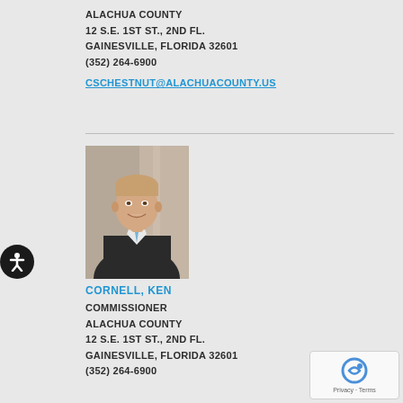ALACHUA COUNTY
12 S.E. 1ST ST., 2ND FL.
GAINESVILLE, FLORIDA 32601
(352) 264-6900
CSCHESTNUT@ALACHUACOUNTY.US
[Figure (photo): Professional headshot of Ken Cornell, a man in a dark suit with a light blue tie, smiling, with an American flag in the background]
CORNELL, KEN
COMMISSIONER
ALACHUA COUNTY
12 S.E. 1ST ST., 2ND FL.
GAINESVILLE, FLORIDA 32601
(352) 264-6900